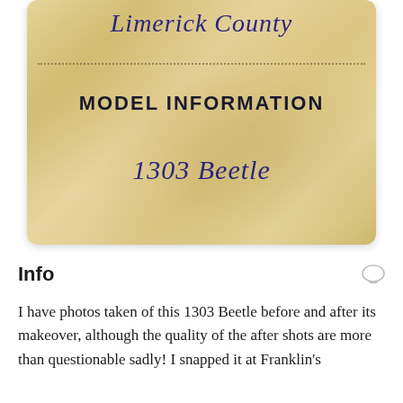[Figure (photo): A vintage parchment-style card with 'Limerick County' written in cursive at the top, a dotted dividing line, 'MODEL INFORMATION' in bold block letters, and '1303 Beetle' in cursive script below.]
Info
I have photos taken of this 1303 Beetle before and after its makeover, although the quality of the after shots are more than questionable sadly! I snapped it at Franklin's